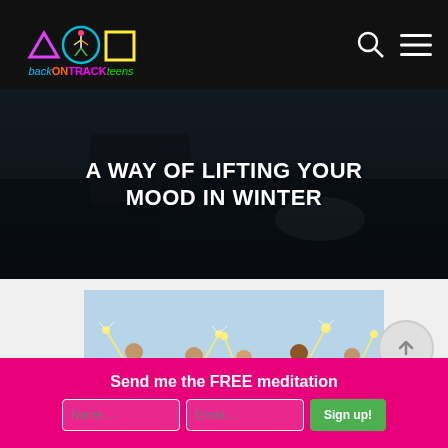backONTRACKteens - navigation header with logo and search/menu icons
[Figure (photo): Person writing in a spiral notebook with a pencil, dark moody background, hero banner image]
A WAY OF LIFTING YOUR MOOD IN WINTER
[Figure (photo): Group of happy young people holding sparklers up in the air, celebrating]
Send me the FREE meditation
Name.... | Email.... | Sign up!